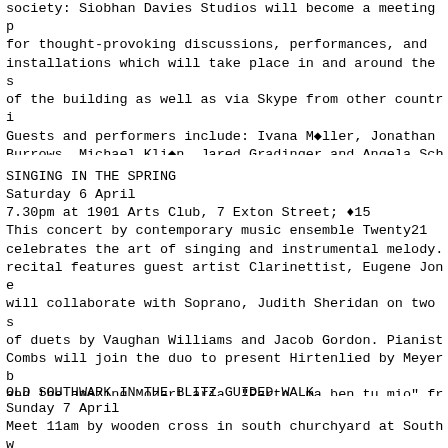society: Siobhan Davies Studios will become a meeting place for thought-provoking discussions, performances, and installations which will take place in and around the spaces of the building as well as via Skype from other countries. Guests and performers include: Ivana Møller, Jonathan Burrows, Michael Kliøn, Jared Gradinger and Angela Schäfer. Info & map: http://www.London-SE1.co.uk/whatson/event/1
SINGING IN THE SPRING
Saturday 6 April
7.30pm at 1901 Arts Club, 7 Exton Street; ◆£15
This concert by contemporary music ensemble Twenty21 celebrates the art of singing and instrumental melody. The recital features guest artist Clarinettist, Eugene Jones who will collaborate with Soprano, Judith Sheridan on two sets of duets by Vaughan Williams and Jacob Gordon. Pianist Combs will join the duo to present Hirtenlied by Meyerbeer and the amazing Mozart aria, "Parto, ma ben tu mio" from La clemenza di Tito. The second half will sing with the instrumental melodies of Dvorak's first piano trio in B flat.
Info & map: http://www.London-SE1.co.uk/whatson/event/1
OLD SOUTHWARK IN THE BLITZ GUIDED WALK
Sunday 7 April
Meet 11am by wooden cross in south churchyard at Southwark Cathedral,  London Bridge; ◆£9; booking essential
info@blitzwalkers.co.uk
This ...